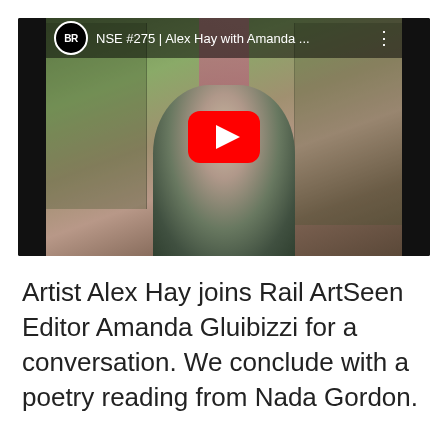[Figure (screenshot): YouTube video thumbnail showing an elderly man with white hair speaking on a video call, surrounded by bookshelves. The video title reads 'NSE #275 | Alex Hay with Amanda ...' with a BR (Brooklyn Rail) logo and a red play button overlay.]
Artist Alex Hay joins Rail ArtSeen Editor Amanda Gluibizzi for a conversation. We conclude with a poetry reading from Nada Gordon.